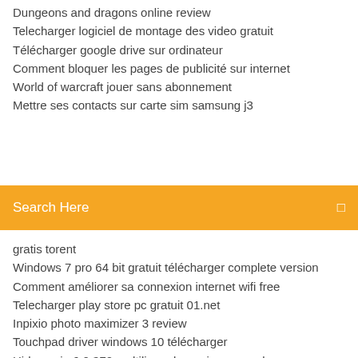Dungeons and dragons online review
Telecharger logiciel de montage des video gratuit
Télécharger google drive sur ordinateur
Comment bloquer les pages de publicité sur internet
World of warcraft jouer sans abonnement
Mettre ses contacts sur carte sim samsung j3
Search Here
gratis torent
Windows 7 pro 64 bit gratuit télécharger complete version
Comment améliorer sa connexion internet wifi free
Telecharger play store pc gratuit 01.net
Inpixio photo maximizer 3 review
Touchpad driver windows 10 télécharger
Hide my ip 6.0.370 multilingual premium vpn + key - appzdam
Windows 7 theme for windows 10 télécharger
Windows 8 telecharger crack
How to add music to my game video